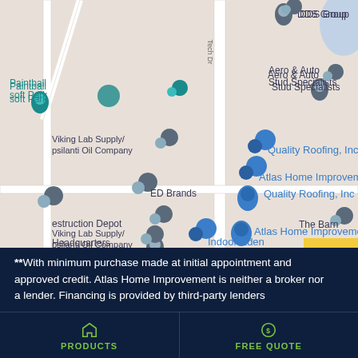[Figure (map): Google Maps screenshot showing business locations including Quality Roofing Inc, Atlas Home Improvement, Indoor Eden, The Barn, ED Brands, Viking Lab Supply/Ypsilanti Oil Company, Paintball soft Park, Aero & Auto Stud Specialists, DDS Group, estruction Depot, Headquarters, with map pin markers]
**With minimum purchase made at initial appointment and approved credit. Atlas Home Improvement is neither a broker nor a lender. Financing is provided by third-party lenders
PRODUCTS   FREE QUOTE